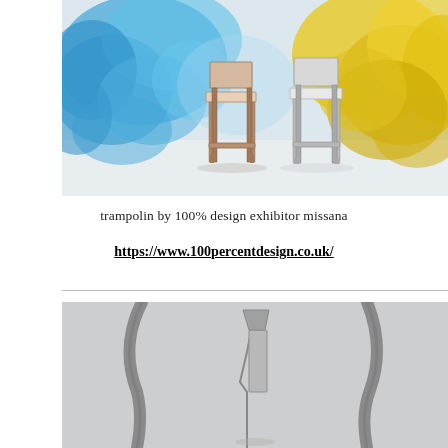[Figure (photo): Two bar stools surrounded by blue and yellow colored smoke clouds on a white background. The left stool sits in blue smoke and the right stool sits in yellow smoke.]
trampolin by 100% design exhibitor missana
https://www.100percentdesign.co.uk/
[Figure (photo): Close-up of metallic/silver design objects or cutlery pieces on a light grey background, partially cropped.]